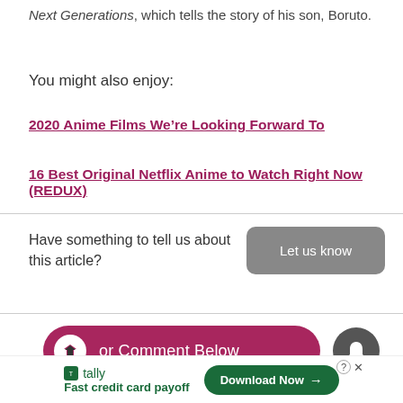Next Generations, which tells the story of his son, Boruto.
You might also enjoy:
2020 Anime Films We're Looking Forward To
16 Best Original Netflix Anime to Watch Right Now (REDUX)
Have something to tell us about this article?
Let us know
or Comment Below
[Figure (screenshot): Advertisement banner for Tally app: Fast credit card payoff with Download Now button]